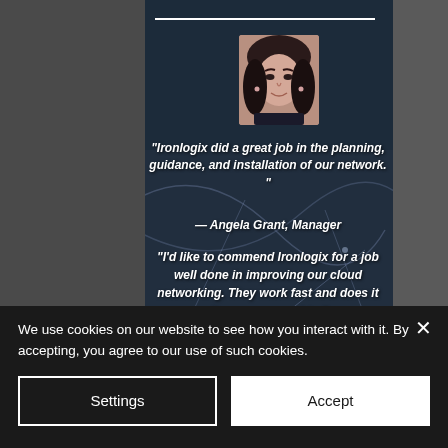[Figure (photo): Dark background with city aerial view and network/connectivity lines overlaid. A circular/square profile photo of a woman with dark hair is centered at top.]
"Ironlogix did a great job in the planning, guidance, and installation of our network. "
— Angela Grant, Manager
"I'd like to commend Ironlogix for a job well done in improving our cloud networking. They work fast and does it the way we want to."
We use cookies on our website to see how you interact with it. By accepting, you agree to our use of such cookies.
Settings
Accept